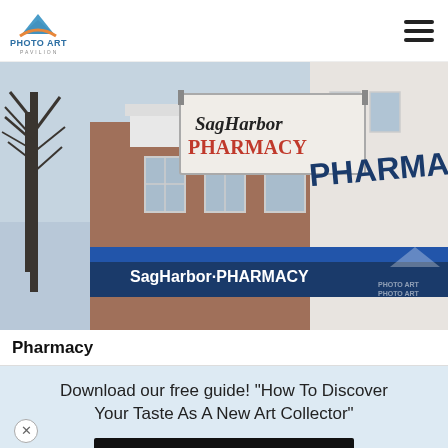Photo Art Pavilion
[Figure (photo): Street-level photograph of Sag Harbor Pharmacy building exterior. A vintage hanging sign reads 'Sag Harbor PHARMACY' and a modern blue storefront sign also reads 'Sag Harbor PHARMACY'. The building is brick with white trim. Bare winter trees are visible on the left. A Photo Art Pavilion watermark appears in the lower right.]
Pharmacy
Download our free guide! "How To Discover Your Taste As A New Art Collector"
Download Now!